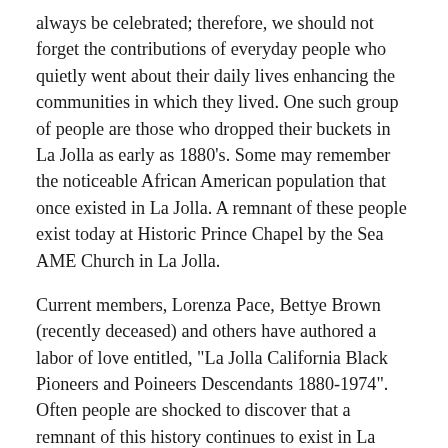always be celebrated; therefore, we should not forget the contributions of everyday people who quietly went about their daily lives enhancing the communities in which they lived. One such group of people are those who dropped their buckets in La Jolla as early as 1880's. Some may remember the noticeable African American population that once existed in La Jolla. A remnant of these people exist today at Historic Prince Chapel by the Sea AME Church in La Jolla.
Current members, Lorenza Pace, Bettye Brown (recently deceased) and others have authored a labor of love entitled, "La Jolla California Black Pioneers and Poineers Descendants 1880-1974".  Often people are shocked to discover that a remnant of this history continues to exist in La Jolla. Historic Prince Chapel by the Sea AME Church has humbly served the community since 1921. Originally, the La Jolla Union Mission, its affiliation was changed to the African Methodist Episcopal (AME) denomination in 1943. Throughout the years, members of Historic Prince Chapel have awarded scholarships and watched their young people go on to thrive at La Jolla schools as Student